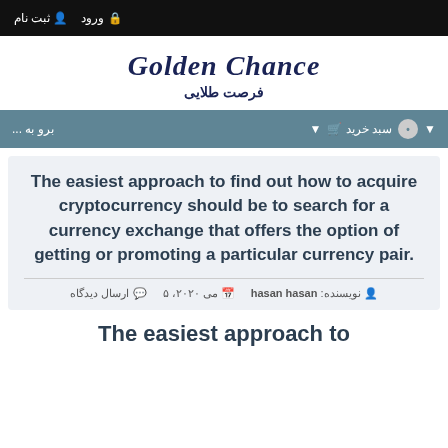ورود  ثبت نام
Golden Chance فرصت طلایی
برو به ...  سبد خرید ▼
The easiest approach to find out how to acquire cryptocurrency should be to search for a currency exchange that offers the option of getting or promoting a particular currency pair.
نویسنده: hasan hasan  می ۲۰۲۰، ۵  ارسال دیدگاه
The easiest approach to